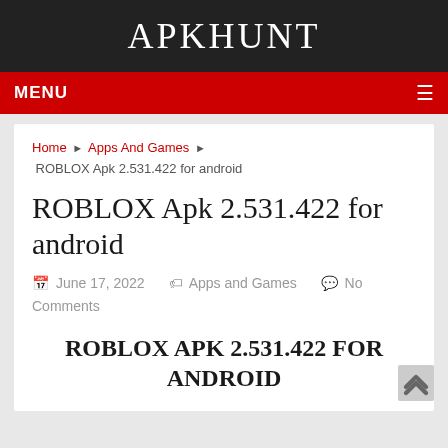APKHUNT
MENU
Home ▶ Apps And Games ▶ ROBLOX Apk 2.531.422 for android
ROBLOX Apk 2.531.422 for android
June 17, 2022   Apps and Games   No Comments
ROBLOX APK 2.531.422 FOR ANDROID